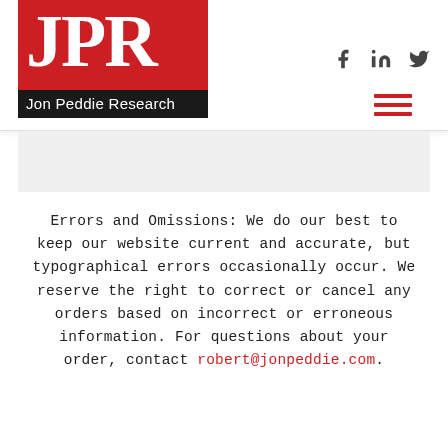[Figure (logo): JPR - Jon Peddie Research logo with red background, white JPR letters, and dark bar with company name]
Errors and Omissions: We do our best to keep our website current and accurate, but typographical errors occasionally occur. We reserve the right to correct or cancel any orders based on incorrect or erroneous information. For questions about your order, contact robert@jonpeddie.com.